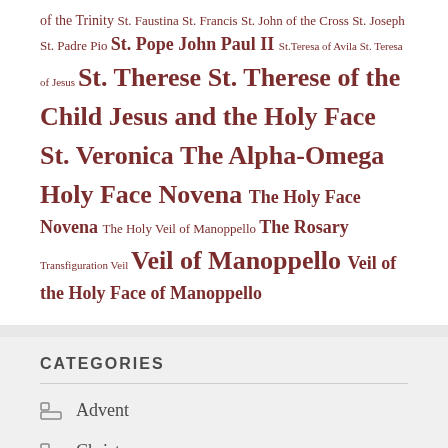of the Trinity St. Faustina St. Francis St. John of the Cross St. Joseph St. Padre Pio St. Pope John Paul II St.Teresa of Avila St. Teresa of Jesus St. Therese St. Therese of the Child Jesus and the Holy Face St. Veronica The Alpha-Omega Holy Face Novena The Holy Face Novena The Holy Veil of Manoppello The Rosary Transfiguration Veil Veil of Manoppello Veil of the Holy Face of Manoppello
CATEGORIES
Advent
Christmas
Uncategorized